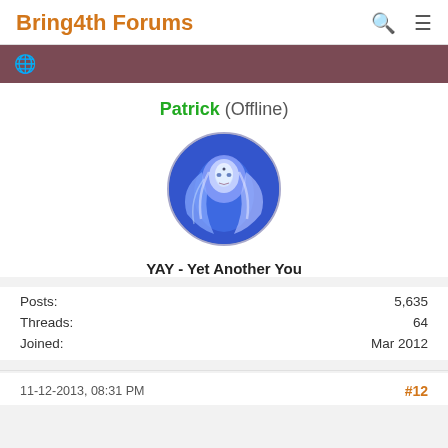Bring4th Forums
Patrick (Offline)
[Figure (illustration): Circular avatar image of a mystical blue-toned figure with flowing white hair, resembling an ethereal being or cosmic entity, set against a blue swirling background.]
YAY - Yet Another You
Posts: 5,635
Threads: 64
Joined: Mar 2012
11-12-2013, 08:31 PM   #12